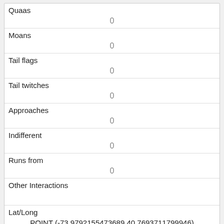| Quaas | 0 |
| Moans | 0 |
| Tail flags | 0 |
| Tail twitches | 0 |
| Approaches | 0 |
| Indifferent | 0 |
| Runs from | 0 |
| Other Interactions |  |
| Lat/Long | POINT (-73.9792155473689 40.7693711799946) |
| Link | 127 |